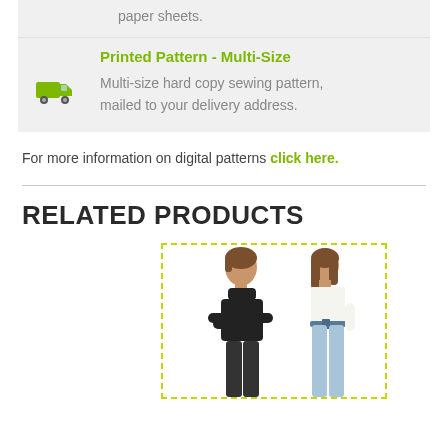paper sheets.
Printed Pattern - Multi-Size
Multi-size hard copy sewing pattern, mailed to your delivery address.
For more information on digital patterns click here.
RELATED PRODUCTS
[Figure (illustration): Two fashion illustration figures: one wearing a black turtleneck with arms crossed, one wearing a white top and light blue pants with a belt, shown from the front and back respectively.]